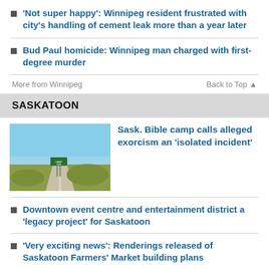'Not super happy': Winnipeg resident frustrated with city's handling of cement leak more than a year later
Bud Paul homicide: Winnipeg man charged with first-degree murder
More from Winnipeg   Back to Top ▲
SASKATOON
[Figure (photo): Road landscape with a green sign and flat prairie terrain under blue sky]
Sask. Bible camp calls alleged exorcism an 'isolated incident'
Downtown event centre and entertainment district a 'legacy project' for Saskatoon
'Very exciting news': Renderings released of Saskatoon Farmers' Market building plans